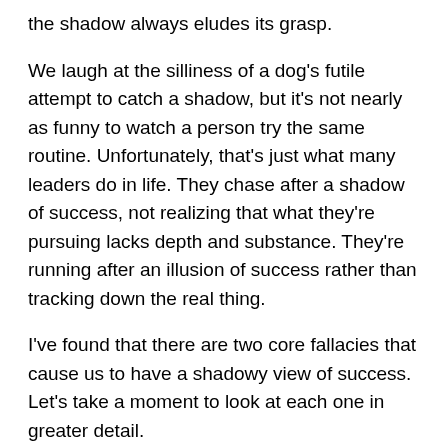the shadow always eludes its grasp.
We laugh at the silliness of a dog's futile attempt to catch a shadow, but it's not nearly as funny to watch a person try the same routine. Unfortunately, that's just what many leaders do in life. They chase after a shadow of success, not realizing that what they're pursuing lacks depth and substance. They're running after an illusion of success rather than tracking down the real thing.
I've found that there are two core fallacies that cause us to have a shadowy view of success. Let's take a moment to look at each one in greater detail.
Fallacy #1: We see success as a place instead of a process.
Most people have destination disease. They see